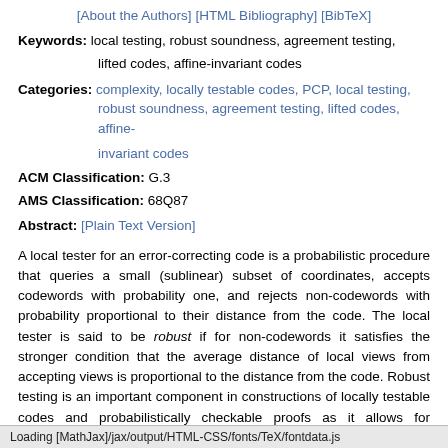[About the Authors] [HTML Bibliography] [BibTeX]
Keywords: local testing, robust soundness, agreement testing, lifted codes, affine-invariant codes
Categories: complexity, locally testable codes, PCP, local testing, robust soundness, agreement testing, lifted codes, affine-invariant codes
ACM Classification: G.3
AMS Classification: 68Q87
Abstract: [Plain Text Version]
A local tester for an error-correcting code is a probabilistic procedure that queries a small (sublinear) subset of coordinates, accepts codewords with probability one, and rejects non-codewords with probability proportional to their distance from the code. The local tester is said to be robust if for non-codewords it satisfies the stronger condition that the average distance of local views from accepting views is proportional to the distance from the code. Robust testing is an important component in constructions of locally testable codes and probabilistically checkable proofs as it allows for composition of local tests.
Loading [MathJax]/jax/output/HTML-CSS/fonts/TeX/fontdata.js